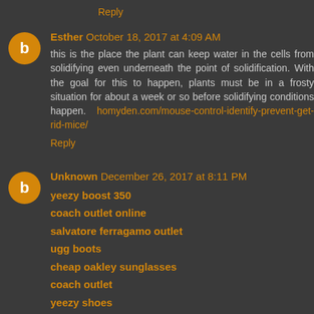Reply
Esther October 18, 2017 at 4:09 AM
this is the place the plant can keep water in the cells from solidifying even underneath the point of solidification. With the goal for this to happen, plants must be in a frosty situation for about a week or so before solidifying conditions happen. homyden.com/mouse-control-identify-prevent-get-rid-mice/
Reply
Unknown December 26, 2017 at 8:11 PM
yeezy boost 350
coach outlet online
salvatore ferragamo outlet
ugg boots
cheap oakley sunglasses
coach outlet
yeezy shoes